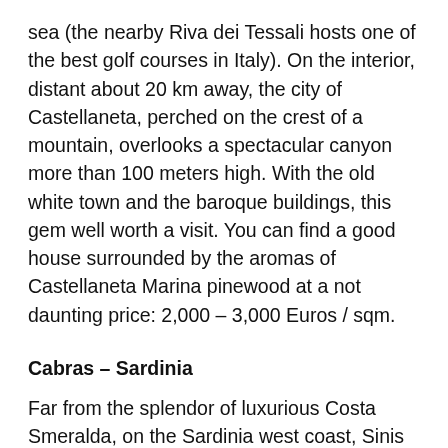sea (the nearby Riva dei Tessali hosts one of the best golf courses in Italy). On the interior, distant about 20 km away, the city of Castellaneta, perched on the crest of a mountain, overlooks a spectacular canyon more than 100 meters high. With the old white town and the baroque buildings, this gem well worth a visit. You can find a good house surrounded by the aromas of Castellaneta Marina pinewood at a not daunting price: 2,000 – 3,000 Euros / sqm.
Cabras – Sardinia
Far from the splendor of luxurious Costa Smeralda, on the Sardinia west coast, Sinis peninsula and Oristano Gulf are an area of great natural and scenic interest, already known by